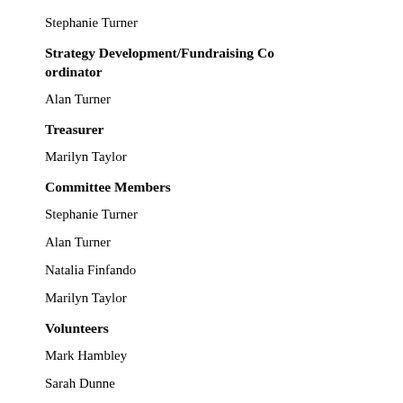Stephanie Turner
Strategy Development/Fundraising Coordinator
Alan Turner
Treasurer
Marilyn Taylor
Committee Members
Stephanie Turner
Alan Turner
Natalia Finfando
Marilyn Taylor
Volunteers
Mark Hambley
Sarah Dunne